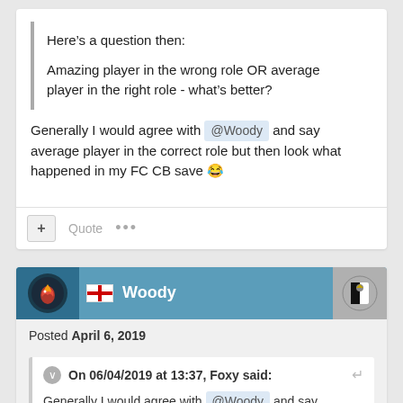Here’s a question then:

Amazing player in the wrong role OR average player in the right role - what’s better?
Generally I would agree with @Woody and say average player in the correct role but then look what happened in my FC CB save 😂
Posted April 6, 2019
On 06/04/2019 at 13:37, Foxy said:
Generally I would agree with @Woody and say average